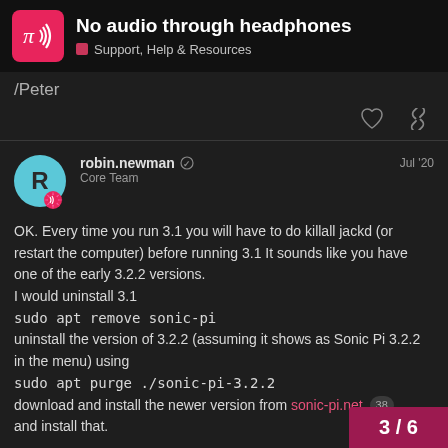No audio through headphones — Support, Help & Resources
/Peter
robin.newman  Core Team  Jul '20
OK. Every time you run 3.1 you will have to do killall jackd (or restart the computer) before running 3.1 It sounds like you have one of the early 3.2.2 versions.
I would uninstall 3.1
sudo apt remove sonic-pi
uninstall the version of 3.2.2 (assuming it shows as Sonic Pi 3.2.2 in the menu) using
sudo apt purge ./sonic-pi-3.2.2
download and install the newer version from sonic-pi.net 38
and install that.
3 / 6